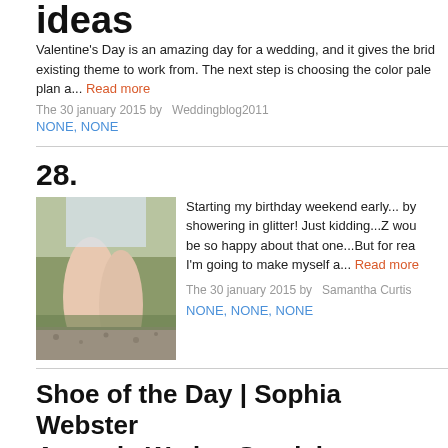ideas
Valentine's Day is an amazing day for a wedding, and it gives the bride an existing theme to work from. The next step is choosing the color palette to plan a...
Read more
The 30 january 2015 by  Weddingblog2011
NONE, NONE
28.
[Figure (photo): Close-up photo of person's feet/legs on grass with gravel]
Starting my birthday weekend early... by showering in glitter! Just kidding...Z would be so happy about that one...But for rea I'm going to make myself a...
Read more
The 30 january 2015 by  Samantha Curtis
NONE, NONE, NONE
Shoe of the Day | Sophia Webster Amanda Wedge Sandals
[Figure (photo): Partial photo of shoe/sandal]
For those of who who may be on the 'b...